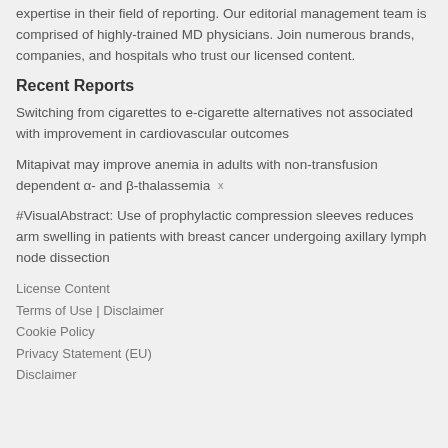expertise in their field of reporting. Our editorial management team is comprised of highly-trained MD physicians. Join numerous brands, companies, and hospitals who trust our licensed content.
Recent Reports
Switching from cigarettes to e-cigarette alternatives not associated with improvement in cardiovascular outcomes
Mitapivat may improve anemia in adults with non-transfusion dependent α- and β-thalassemia
#VisualAbstract: Use of prophylactic compression sleeves reduces arm swelling in patients with breast cancer undergoing axillary lymph node dissection
License Content
Terms of Use | Disclaimer
Cookie Policy
Privacy Statement (EU)
Disclaimer